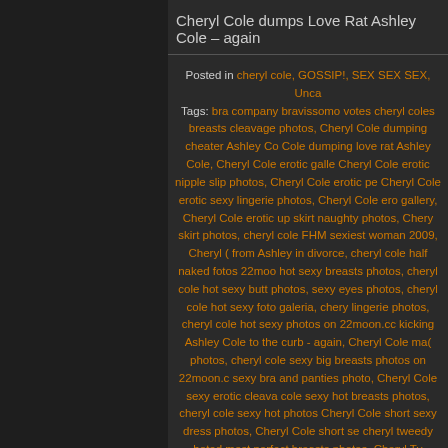Cheryl Cole dumps Love Rat Ashley Cole – again
Posted in cheryl cole, GOSSIP!, SEX SEX SEX, Unca… Tags: bra company bravissomo votes cheryl coles breasts cleavage photos, Cheryl Cole dumping cheater Ashley Cole dumping love rat Ashley Cole, Cheryl Cole erotic galle… Cheryl Cole erotic nipple slip photos, Cheryl Cole erotic pe… Cheryl Cole erotic sexy lingerie photos, Cheryl Cole ero… gallery, Cheryl Cole erotic up skirt naughty photos, Chery… skirt photos, cheryl cole FHM sexiest woman 2009, Cheryl … from Ashley in divorce, cheryl cole half naked fotos 22moor… hot sexy breasts photos, cheryl cole hot sexy butt photos… sexy eyes photos, cheryl cole hot sexy foto galeria, chery… lingerie photos, cheryl cole hot sexy photos on 22moon.cc kicking Ashley Cole to the curb - again, Cheryl Cole mac… photos, cheryl cole sexy big breasts photos on 22moon.c sexy bra and panties photo, Cheryl Cole sexy erotic cleava cole sexy hot breasts photos, cheryl cole sexy hot photos Cheryl Cole short sexy dress photos, Cheryl Cole short se cheryl tweedy boted most perfect breasts photos, Cheryl Tv 22moon.com, cheryl Tweedy erotic perfect butt fotos, Cher perfect legs fotos, Cheryl Tweedy erotic perfect lips fotos, erotic sexy lips fotos, Cheryl Tweedy erotic sexy photo o Tweedy Girls Aloud sexy fotos, cheryl tweedy half naked tweedy half nude photos, cheryl tweedy hot sexy foto galer hot sexy lingerie photos, cheryl tweedy hot sexy photo galle hot sexy photos, cheryl tweedy legs spread for camera Tweedy naughty hottie photos, cheryl tweedy perfect breas